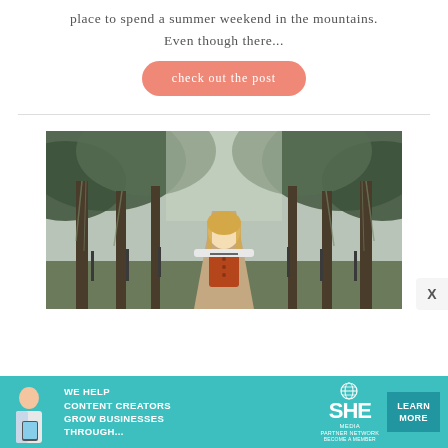place to spend a summer weekend in the mountains. Even though there...
check out the post
[Figure (photo): Young blonde woman standing on a tree-lined road with large oak trees draped in Spanish moss, wearing a rust-colored jumper over a striped shirt.]
[Figure (infographic): SHE Media Partner Network advertisement banner: 'WE HELP CONTENT CREATORS GROW BUSINESSES THROUGH...' with LEARN MORE button.]